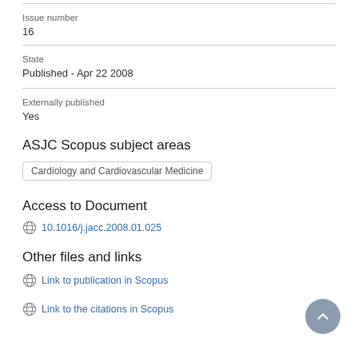Issue number
16
State
Published - Apr 22 2008
Externally published
Yes
ASJC Scopus subject areas
Cardiology and Cardiovascular Medicine
Access to Document
10.1016/j.jacc.2008.01.025
Other files and links
Link to publication in Scopus
Link to the citations in Scopus